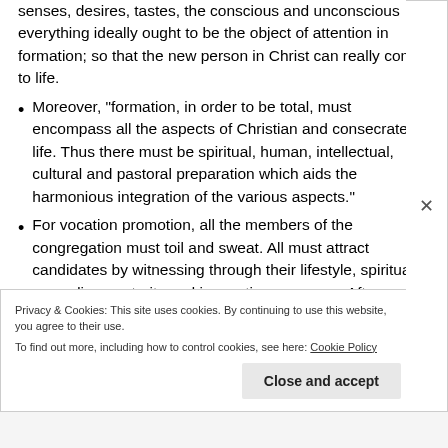senses, desires, tastes, the conscious and unconscious everything ideally ought to be the object of attention in formation; so that the new person in Christ can really come to life.
Moreover, “formation, in order to be total, must encompass all the aspects of Christian and consecrated life. Thus there must be spiritual, human, intellectual, cultural and pastoral preparation which aids the harmonious integration of the various aspects.”
For vocation promotion, all the members of the congregation must toil and sweat. All must attract candidates by witnessing through their lifestyle, spiritual grounding, maturity and innovative programs. After recruiting candidates, the formators must accompany them
Privacy & Cookies: This site uses cookies. By continuing to use this website, you agree to their use.
To find out more, including how to control cookies, see here: Cookie Policy
Close and accept